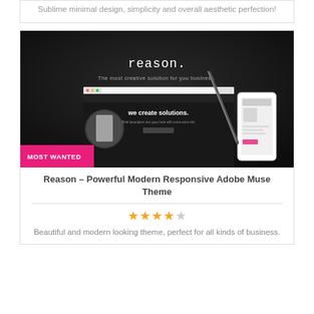Sublime minimal design, simplicity and overall aesthetic perfection!
[Figure (screenshot): Screenshot of 'reason.' Adobe Muse theme — dark background with laptop, tablet, phone mockups. Text reads 'reason.' and 'The most creative solution for you business.' and 'we create solutions.' A 'MOST WANTED' badge in pink/magenta appears at the bottom left.]
Reason – Powerful Modern Responsive Adobe Muse Theme
[Figure (other): Star rating: 3.5 out of 5 stars (3 full stars, 1 half star, 1 empty star) in gold/yellow]
Beautiful and modern looking theme, perfect for all kinds of business.